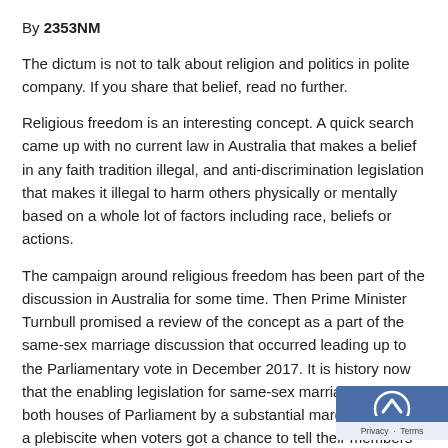By 2353NM
The dictum is not to talk about religion and politics in polite company. If you share that belief, read no further.
Religious freedom is an interesting concept. A quick search came up with no current law in Australia that makes a belief in any faith tradition illegal, and anti-discrimination legislation that makes it illegal to harm others physically or mentally based on a whole lot of factors including race, beliefs or actions.
The campaign around religious freedom has been part of the discussion in Australia for some time. Then Prime Minister Turnbull promised a review of the concept as a part of the same-sex marriage discussion that occurred leading up to the Parliamentary vote in December 2017. It is history now that the enabling legislation for same-sex marriage passed both houses of Parliament by a substantial margin following a plebiscite when voters got a chance to tell their members of Parliament how to do their job in a process wasting millions of dollars. Turnbull did ask former Liberal Party Minister Philip Ruddock to review 'religious freedom' as promised. Ruddock reported back to the government in 2018.